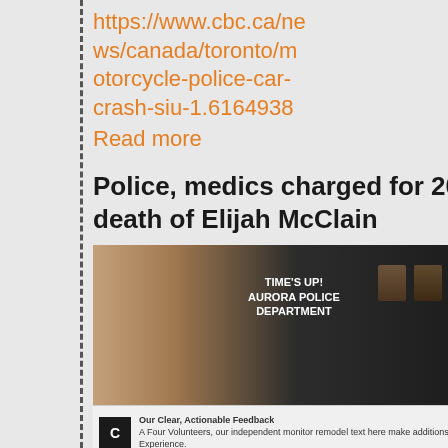https://www.cbc.ca/news/canada/toronto/motorcycle-police-car-crash-siu-1.6164938
Read more
Police, medics charged for 2019 death of Elijah McClain
[Figure (photo): Photo showing protest related to Aurora Police Department and Elijah McClain case, with a CBC news webpage overlay in the middle.]
06 September 2021
A grand jury has